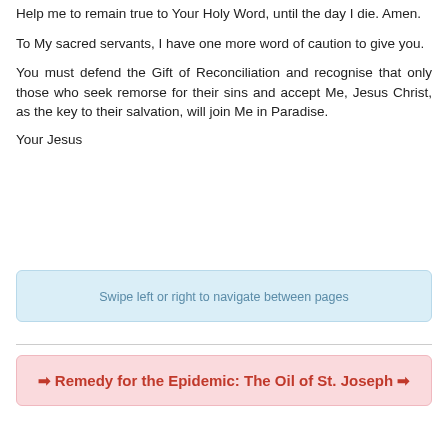Help me to remain true to Your Holy Word, until the day I die. Amen.
To My sacred servants, I have one more word of caution to give you.
You must defend the Gift of Reconciliation and recognise that only those who seek remorse for their sins and accept Me, Jesus Christ, as the key to their salvation, will join Me in Paradise.
Your Jesus
Swipe left or right to navigate between pages
Remedy for the Epidemic: The Oil of St. Joseph